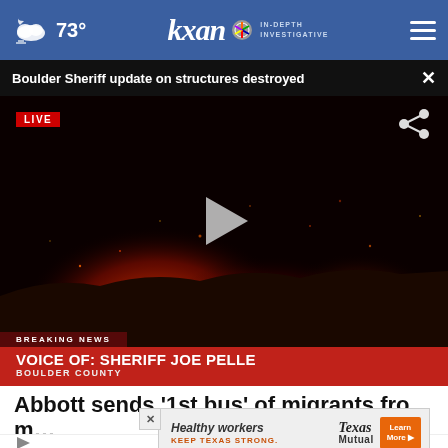73° kxan IN-DEPTH INVESTIGATIVE
Boulder Sheriff update on structures destroyed ×
[Figure (screenshot): LIVE news video screenshot showing nighttime fire/wildfire scene with orange/red glow on dark hillside. Lower thirds show BREAKING NEWS banner, VOICE OF: SHERIFF JOE PELLE, BOULDER COUNTY in red graphic. Share icon top right, play button center, LIVE badge top left.]
Abbott sends '1st bus' of migrants fro…
[Figure (infographic): Advertisement for Texas Mutual insurance. Text: Healthy workers KEEP TEXAS STRONG. Texas Mutual logo. Learn More button in orange.]